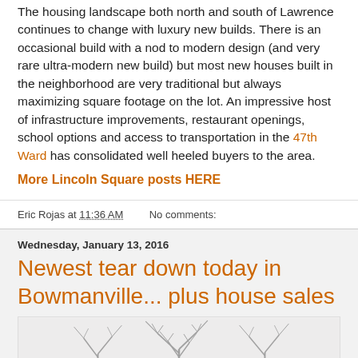The housing landscape both north and south of Lawrence continues to change with luxury new builds. There is an occasional build with a nod to modern design (and very rare ultra-modern new build) but most new houses built in the neighborhood are very traditional but always maximizing square footage on the lot. An impressive host of infrastructure improvements, restaurant openings, school options and access to transportation in the 47th Ward has consolidated well heeled buyers to the area.
More Lincoln Square posts HERE
Eric Rojas at 11:36 AM   No comments:
Wednesday, January 13, 2016
Newest tear down today in Bowmanville... plus house sales
[Figure (photo): Black and white image of bare tree branches against a light background]